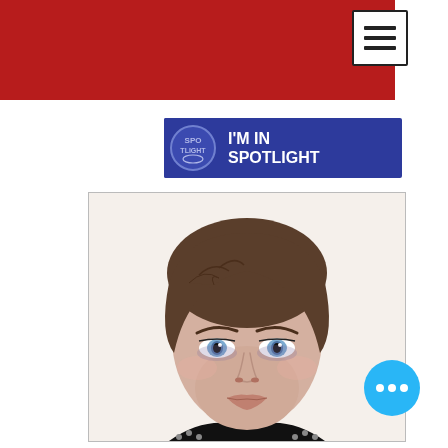[Figure (screenshot): Red header navigation bar of a website]
[Figure (logo): I'M IN SPOTLIGHT badge/banner with Spotlight logo on blue background]
[Figure (photo): Headshot photo of a young woman with short brown hair and blue eyes, wearing a black top with studded shoulders, against a white background]
[Figure (other): Floating action button (blue circle with three white dots)]